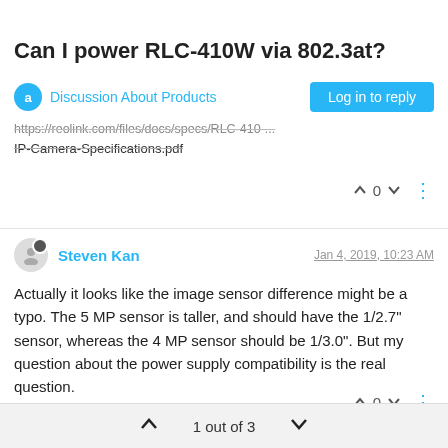Can I power RLC-410W via 802.3at?
Discussion About Products
https://reolink.com/files/docs/specs/RLC-410-...
IP-Camera-Specifications.pdf
Steven Kan  Jan 4, 2019, 10:23 AM
Actually it looks like the image sensor difference might be a typo. The 5 MP sensor is taller, and should have the 1/2.7" sensor, whereas the 4 MP sensor should be 1/3.0". But my question about the power supply compatibility is the real question.
1 out of 3